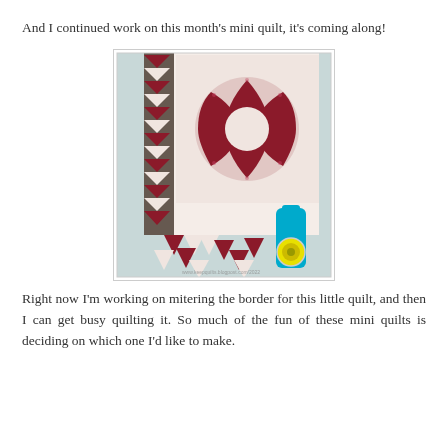And I continued work on this month's mini quilt, it's coming along!
[Figure (photo): A partially assembled mini quilt with red/burgundy and white/cream fabric featuring floral and geometric triangle patterns, with a rotary cutter visible at the lower right corner, displayed on a light blue background.]
Right now I'm working on mitering the border for this little quilt, and then I can get busy quilting it. So much of the fun of these mini quilts is deciding on which one I'd like to make.